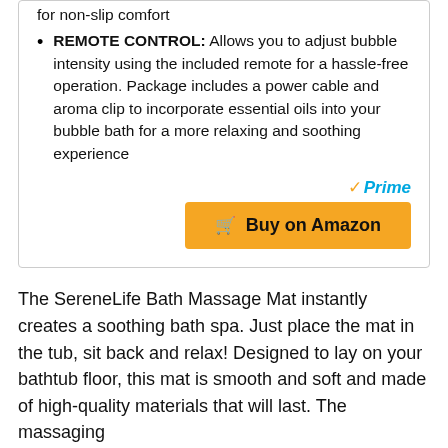REMOTE CONTROL: Allows you to adjust bubble intensity using the included remote for a hassle-free operation. Package includes a power cable and aroma clip to incorporate essential oils into your bubble bath for a more relaxing and soothing experience
[Figure (other): Amazon Prime logo and Buy on Amazon button]
The SereneLife Bath Massage Mat instantly creates a soothing bath spa. Just place the mat in the tub, sit back and relax! Designed to lay on your bathtub floor, this mat is smooth and soft and made of high-quality materials that will last. The massaging